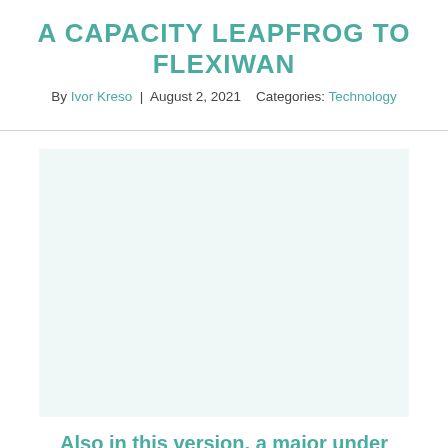A CAPACITY LEAPFROG TO FLEXIWAN
By Ivor Kreso | August 2, 2021   Categories: Technology
[Figure (photo): Image placeholder area for article illustration]
Also in this version, a major under